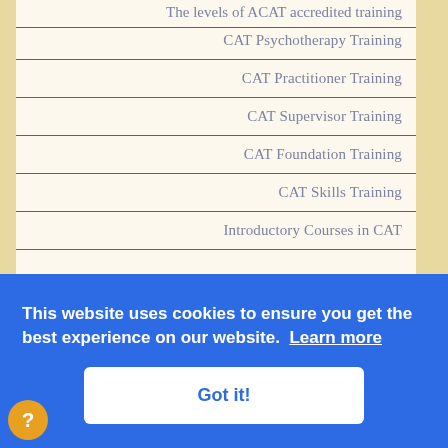The levels of ACAT accredited training
CAT Psychotherapy Training
CAT Practitioner Training
CAT Supervisor Training
CAT Foundation Training
CAT Skills Training
Introductory Courses in CAT
Training (partial, obscured)
[Figure (screenshot): Cookie consent banner overlay with blue background. Text: 'This website uses cookies to ensure you get the best experience on our website. Learn more' with a 'Got it!' button.]